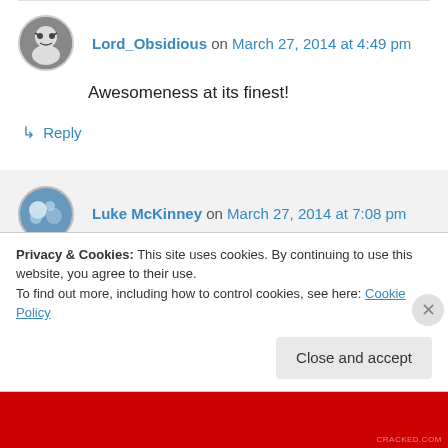Lord_Obsidious on March 27, 2014 at 4:49 pm
Awesomeness at its finest!
↳ Reply
Luke McKinney on March 27, 2014 at 7:08 pm
Thanks! Big grin on my face now knowing someone else enjoyed this.
Privacy & Cookies: This site uses cookies. By continuing to use this website, you agree to their use.
To find out more, including how to control cookies, see here: Cookie Policy